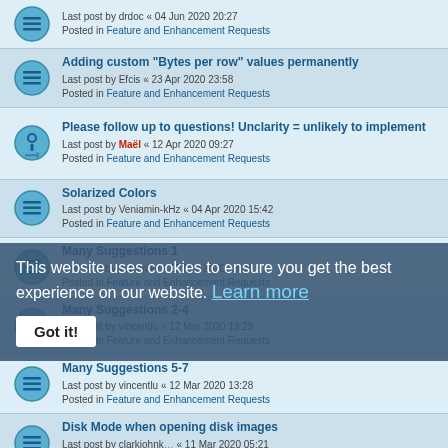Last post by drdoc « 04 Jun 2020 20:27
Posted in Feature and Enhancement Requests
Adding custom "Bytes per row" values permanently
Last post by Efcis « 23 Apr 2020 23:58
Posted in Feature and Enhancement Requests
Please follow up to questions! Unclarity = unlikely to implement
Last post by Maël « 12 Apr 2020 09:27
Posted in Feature and Enhancement Requests
Solarized Colors
Last post by Veniamin-kHz « 04 Apr 2020 15:42
Posted in Feature and Enhancement Requests
Many Suggestions 1
Last post by vincentlu « 12 Mar 2020 13:31
Posted in Feature and Enhancement Requests
Many Suggestions 2-4
Last post by vincentlu « 12 Mar 2020 13:29
Posted in Feature and Enhancement Requests
Many Suggestions 5-7
Last post by vincentlu « 12 Mar 2020 13:28
Posted in Feature and Enhancement Requests
Disk Mode when opening disk images
Last post by clarkjohnk « 11 Mar 2020 05:21
Posted in Feature and Enhancement Requests
HxD 2.4 released
Last post by Maël « 28 Feb 2020 13:10
This website uses cookies to ensure you get the best experience on our website. Learn more
Got it!